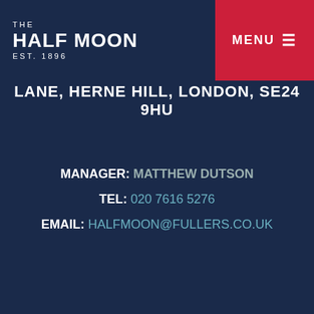THE HALF MOON EST. 1896
LANE, HERNE HILL, LONDON, SE24 9HU
MANAGER: MATTHEW DUTSON
TEL: 020 7616 5276
EMAIL: HALFMOON@FULLERS.CO.UK
We use necessary cookies to make our site work. We'd also like to set performance cookies to help us improve it. We won't set optional cookies unless you enable them. Using this tool will set a cookie on your device to remember your preferences.
Read more
EDIT PREFERENCES
ACCEPT ALL
DECLINE ALL